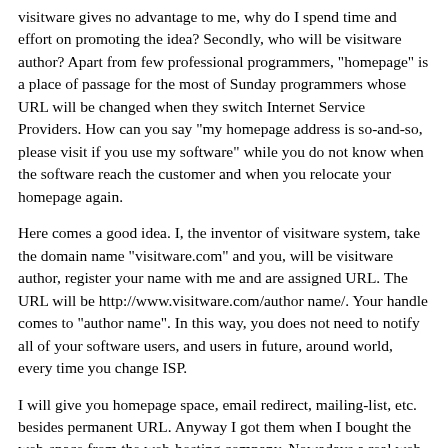visitware gives no advantage to me, why do I spend time and effort on promoting the idea? Secondly, who will be visitware author? Apart from few professional programmers, "homepage" is a place of passage for the most of Sunday programmers whose URL will be changed when they switch Internet Service Providers. How can you say "my homepage address is so-and-so, please visit if you use my software" while you do not know when the software reach the customer and when you relocate your homepage again.
Here comes a good idea. I, the inventor of visitware system, take the domain name "visitware.com" and you, will be visitware author, register your name with me and are assigned URL. The URL will be http://www.visitware.com/author name/. Your handle comes to "author name". In this way, you does not need to notify all of your software users, and users in future, around world, every time you change ISP.
I will give you homepage space, email redirect, mailing-list, etc. besides permanent URL. Anyway I got them when I bought the web-space from the web-hosting company. Nowadays a real web-hosting company do not sell a small disk-space of 5-10MB. So I have plenty to give away. And I do give away as far as you want to be a part of visitware movement. Let me insert a small visitware adertisement at the bottom of your top page in return.